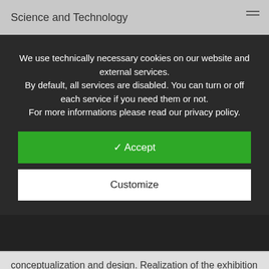Science and Technology
We use technically necessary cookies on our website and external services. By default, all services are disabled. You can turn or off each service if you need them or not. For more informations please read our privacy policy.
✓ Accept
Customize
conceptualization and design. Realization of the exhibition requires the development of an exhibition concept as well as detail work such as the writing of exhibition texts, the design of multimedia presentations, the search for suitable images and illustrations, the design and conceptualization